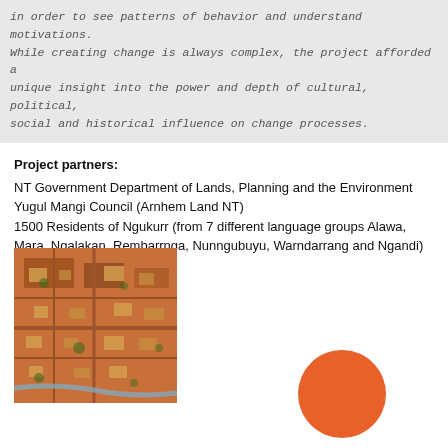in order to see patterns of behavior and understand motivations. While creating change is always complex, the project afforded a unique insight into the power and depth of cultural, political, social and historical influence on change processes.
Project partners:
NT Government Department of Lands, Planning and the Environment
Yugul Mangi Council (Arnhem Land NT)
1500 Residents of Ngukurr (from 7 different language groups Alawa, Mara, Ngalakan, Rembarrnga, Nunngubuyu, Warndarrang and Ngandi)
[Figure (photo): Aerial photograph of Ngukurr community showing red dirt roads, buildings and vegetation from above]